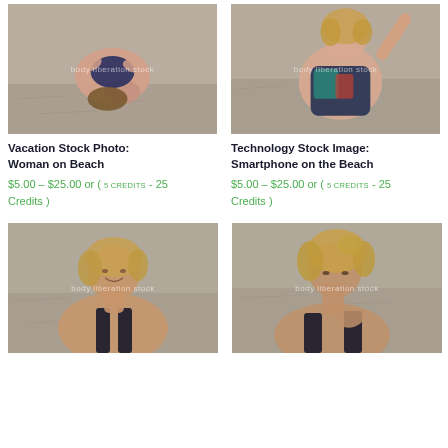[Figure (photo): Stock photo of a plus-size woman lying on a beach in a swimsuit, viewed from above, with watermark 'body liberation stock']
[Figure (photo): Stock photo of a plus-size woman in a colorful swimsuit sitting on a beach with arm raised, with watermark 'body liberation stock']
Vacation Stock Photo: Woman on Beach
$5.00 – $25.00 or ( 5 CREDITS - 25 Credits )
Technology Stock Image: Smartphone on the Beach
$5.00 – $25.00 or ( 5 CREDITS - 25 Credits )
[Figure (photo): Stock photo of a plus-size woman with curly hair in a black swimsuit on the beach, smiling, with watermark 'body liberation stock']
[Figure (photo): Stock photo of a plus-size woman with curly hair in a black swimsuit looking down on the beach, with watermark 'body liberation stock']